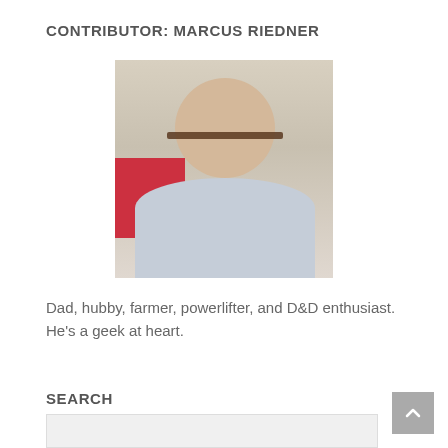CONTRIBUTOR: MARCUS RIEDNER
[Figure (photo): Portrait photo of Marcus Riedner, a smiling bald man with glasses wearing a light blue collared shirt, photographed outdoors near a building.]
Dad, hubby, farmer, powerlifter, and D&D enthusiast. He's a geek at heart.
SEARCH